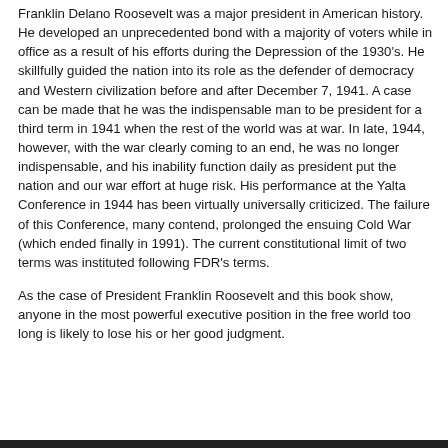Franklin Delano Roosevelt was a major president in American history. He developed an unprecedented bond with a majority of voters while in office as a result of his efforts during the Depression of the 1930's. He skillfully guided the nation into its role as the defender of democracy and Western civilization before and after December 7, 1941. A case can be made that he was the indispensable man to be president for a third term in 1941 when the rest of the world was at war. In late, 1944, however, with the war clearly coming to an end, he was no longer indispensable, and his inability function daily as president put the nation and our war effort at huge risk. His performance at the Yalta Conference in 1944 has been virtually universally criticized. The failure of this Conference, many contend, prolonged the ensuing Cold War (which ended finally in 1991). The current constitutional limit of two terms was instituted following FDR's terms.
As the case of President Franklin Roosevelt and this book show, anyone in the most powerful executive position in the free world too long is likely to lose his or her good judgment.